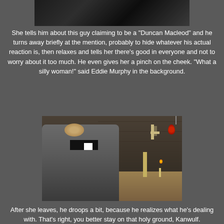[Figure (screenshot): Dark screenshot showing partial scene from above, top cropped]
She tells him about this guy claiming to be a "Duncan Macleod" and he turns away briefly at the mention, probably to hide whatever his actual reaction is, then relaxes and tells her there's good in everyone and not to worry about it too much. He even gives her a pinch on the cheek. "What a silly woman!" said Eddie Murphy in the background.
[Figure (screenshot): A man in a grey jacket with a priest collar standing in a church interior with stone walls, a crucifix, a red hanging lamp, and an altar with candles]
After she leaves, he droops a bit, because he realizes what he's dealing with. That's right, you better stay on that holy ground, Kanwulf.